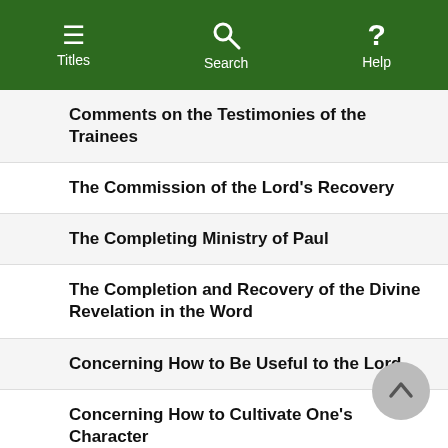Titles | Search | Help
Comments on the Testimonies of the Trainees
The Commission of the Lord's Recovery
The Completing Ministry of Paul
The Completion and Recovery of the Divine Revelation in the Word
Concerning How to Be Useful to the Lord
Concerning How to Cultivate One's Character
Concerning How to Do Things in the